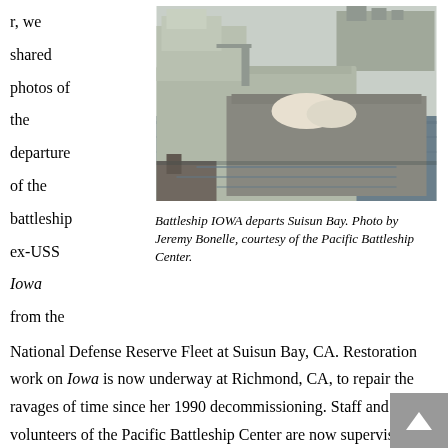r, we shared photos of the departure of the battleship ex-USS Iowa from the
[Figure (photo): Aerial/elevated photo of battleship IOWA departing Suisun Bay, showing the ship in a waterway flanked by other vessels and dock infrastructure.]
Battleship IOWA departs Suisun Bay. Photo by Jeremy Bonelle, courtesy of the Pacific Battleship Center.
National Defense Reserve Fleet at Suisun Bay, CA. Restoration work on Iowa is now underway at Richmond, CA, to repair the ravages of time since her 1990 decommissioning. Staff and volunteers of the Pacific Battleship Center are now supervising extensive work on the exterior of the ship, including painting, corrosion control, repair of her famous wooden deck, and underwater hull preservation. Restoration crews are removing wood from the steel bulkheads (margins) on the main decks for the painter